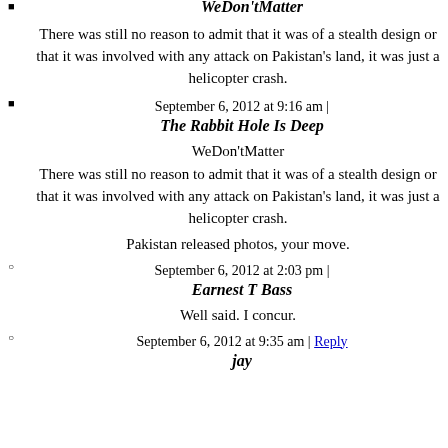WeDon'tMatter
There was still no reason to admit that it was of a stealth design or that it was involved with any attack on Pakistan's land, it was just a helicopter crash.
September 6, 2012 at 9:16 am |
The Rabbit Hole Is Deep
WeDon'tMatter
There was still no reason to admit that it was of a stealth design or that it was involved with any attack on Pakistan's land, it was just a helicopter crash.
Pakistan released photos, your move.
September 6, 2012 at 2:03 pm |
Earnest T Bass
Well said. I concur.
September 6, 2012 at 9:35 am | Reply
jay